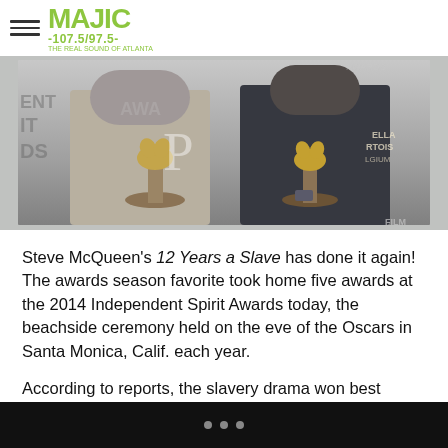MAJIC 107.5/97.5 - THE REAL SOUND OF ATLANTA
[Figure (photo): Two people holding Independent Spirit Award trophies at the 2014 Film Independent Spirit Awards ceremony, with award backdrop visible]
Steve McQueen's 12 Years a Slave has done it again! The awards season favorite took home five awards at the 2014 Independent Spirit Awards today, the beachside ceremony held on the eve of the Oscars in Santa Monica, Calif. each year.
According to reports, the slavery drama won best feature, best screenplay, best cinematography, best director for McQueen and best supporting male for Lupita Nyong'o...